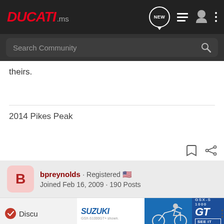DUCATI.ms — Search Community
theirs.
2014 Pikes Peak
bpreynolds · Registered  Joined Feb 16, 2009 · 190 Posts
[Figure (screenshot): Suzuki GSX-S1000GT advertisement banner at the bottom of the page]
Discu